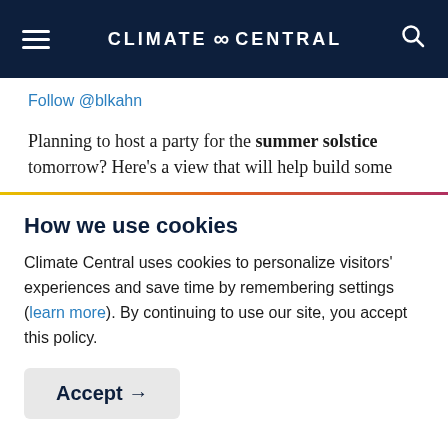CLIMATE ∞ CENTRAL
Follow @blkahn
Planning to host a party for the summer solstice tomorrow? Here's a view that will help build some
How we use cookies
Climate Central uses cookies to personalize visitors' experiences and save time by remembering settings (learn more). By continuing to use our site, you accept this policy.
Accept →